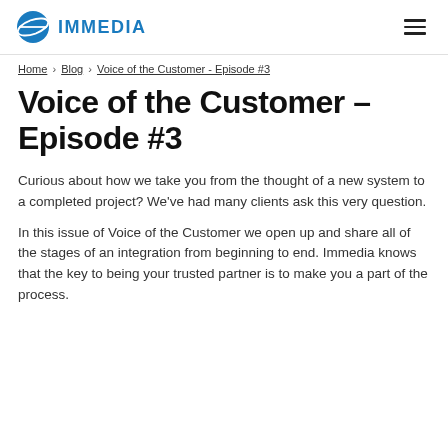IMMEDIA
Home › Blog › Voice of the Customer - Episode #3
Voice of the Customer – Episode #3
Curious about how we take you from the thought of a new system to a completed project? We've had many clients ask this very question.
In this issue of Voice of the Customer we open up and share all of the stages of an integration from beginning to end. Immedia knows that the key to being your trusted partner is to make you a part of the process.